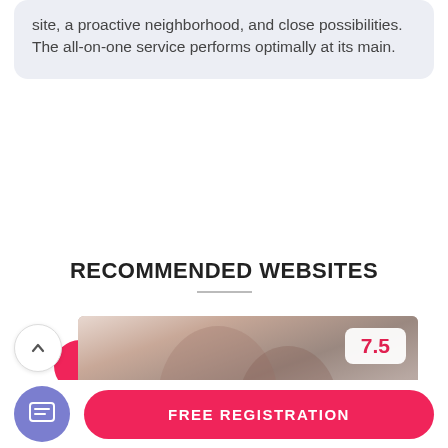site, a proactive neighborhood, and close possibilities. The all-on-one service performs optimally at its main.
SHOW MORE REVIEWS
RECOMMENDED WEBSITES
[Figure (infographic): Card with a photo of a couple smiling (man and woman), a circular 88% score indicator on the left, an up-arrow navigation button, and a 7.5 score badge in the top right corner of the card.]
FREE REGISTRATION